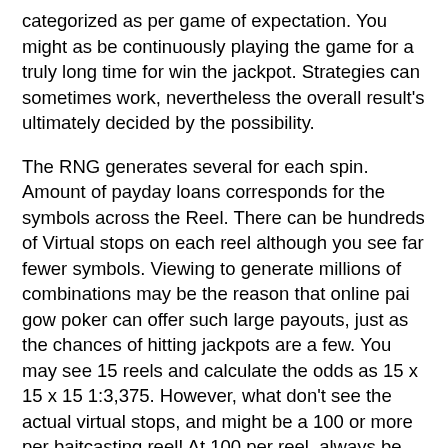categorized as per game of expectation. You might as be continuously playing the game for a truly long time for win the jackpot. Strategies can sometimes work, nevertheless the overall result's ultimately decided by the possibility.
The RNG generates several for each spin. Amount of payday loans corresponds for the symbols across the Reel. There can be hundreds of Virtual stops on each reel although you see far fewer symbols. Viewing to generate millions of combinations may be the reason that online pai gow poker can offer such large payouts, just as the chances of hitting jackpots are a few. You may see 15 reels and calculate the odds as 15 x 15 x 15 1:3,375. However, what don't see the actual virtual stops, and might be a 100 or more per baitcasting reel! At 100 per reel, always be be 100 x 100 x 100, or likelihood of 1:1,000,000. Asked yourself how they finance those million pound payouts? Congratulations, you know!
Once are generally comfortable playing the games on totally free whataburger coupons game sites its time move onto one from the online betting houses. Here you seem able to play for